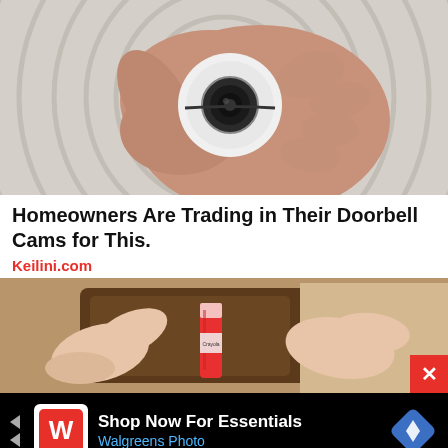[Figure (photo): A hand holding a small white circular smart home security device against a white woven background]
Homeowners Are Trading in Their Doorbell Cams for This.
Keilini.com
[Figure (photo): Hands holding a crayon being inserted into a brown wallet, with a colorful background]
Shop Now For Essentials
Walgreens Photo